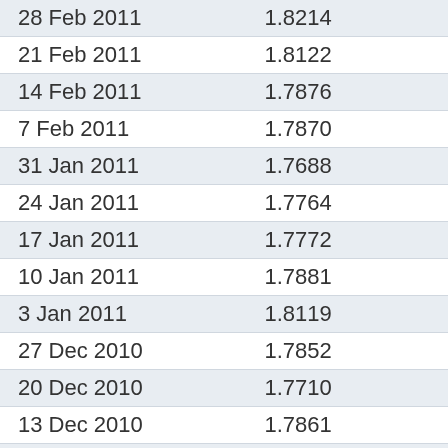| Date | Value |
| --- | --- |
| 28 Feb 2011 | 1.8214 |
| 21 Feb 2011 | 1.8122 |
| 14 Feb 2011 | 1.7876 |
| 7 Feb 2011 | 1.7870 |
| 31 Jan 2011 | 1.7688 |
| 24 Jan 2011 | 1.7764 |
| 17 Jan 2011 | 1.7772 |
| 10 Jan 2011 | 1.7881 |
| 3 Jan 2011 | 1.8119 |
| 27 Dec 2010 | 1.7852 |
| 20 Dec 2010 | 1.7710 |
| 13 Dec 2010 | 1.7861 |
| 6 Dec 2010 | 1.7898 |
| 29 Nov 2010 | 1.7638 |